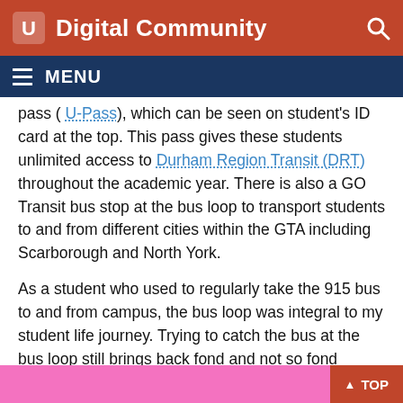Digital Community
pass ( U-Pass), which can be seen on student's ID card at the top. This pass gives these students unlimited access to Durham Region Transit (DRT) throughout the academic year. There is also a GO Transit bus stop at the bus loop to transport students to and from different cities within the GTA including Scarborough and North York.
As a student who used to regularly take the 915 bus to and from campus, the bus loop was integral to my student life journey. Trying to catch the bus at the bus loop still brings back fond and not so fond memories.
[Figure (other): Pink bottom bar with TOP button]